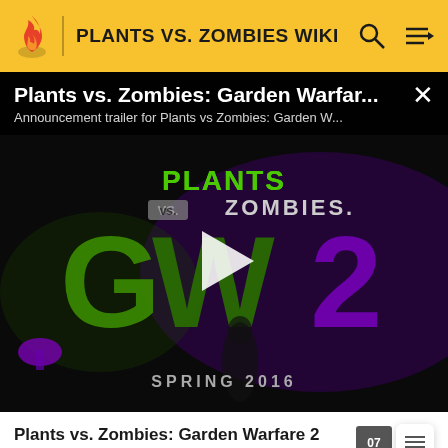PLANTS VS. ZOMBIES WIKI
[Figure (screenshot): Video player overlay showing Plants vs. Zombies: Garden Warfare 2 announcement trailer. Black background with GW2 game art featuring large green and purple text 'GW2', 'PLANTS VS. ZOMBIES' at top, and 'SPRING 2016' at bottom. White play button triangle in center. Video title bar at top reads 'Plants vs. Zombies: Garden Warfar...' with subtitle 'Announcement trailer for Plants vs Zombies: Garden W...' and X close button.]
Plants vs. Zombies: Garden Warfare 2 Announce Trailer
ADVERTISEMENT
Maps